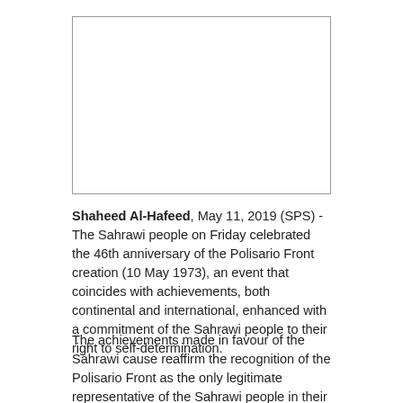[Figure (photo): Photograph placeholder — blank white image with border]
Shaheed Al-Hafeed, May 11, 2019 (SPS) - The Sahrawi people on Friday celebrated the 46th anniversary of the Polisario Front creation (10 May 1973), an event that coincides with achievements, both continental and international, enhanced with a commitment of the Sahrawi people to their right to self-determination.
The achievements made in favour of the Sahrawi cause reaffirm the recognition of the Polisario Front as the only legitimate representative of the Sahrawi people in their struggle for freedom and independence and the Sahrawi's commitment to inalienable right to a self-determination referendum.